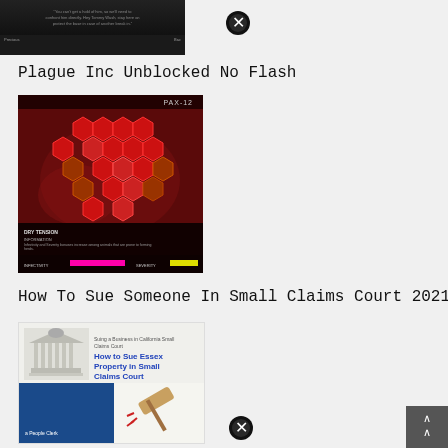[Figure (screenshot): Dark screenshot showing a movie/TV scene with overlaid text quote and character label at bottom right]
[Figure (screenshot): Close button (X icon) top right area]
Plague Inc Unblocked No Flash
[Figure (screenshot): Plague Inc game screenshot showing PAX-12 pathogen with hexagonal trait nodes on red background, infectivity and severity bars at bottom]
How To Sue Someone In Small Claims Court 2021
[Figure (screenshot): Small claims court image collage showing courthouse illustration, 'Suing a Business in California Small Claims Court' label, 'How to Sue Essex Property in Small Claims Court' blue link text, and a gavel illustration]
[Figure (screenshot): Close button (X icon) bottom right area]
[Figure (screenshot): Scroll-up arrow button in bottom-right corner]